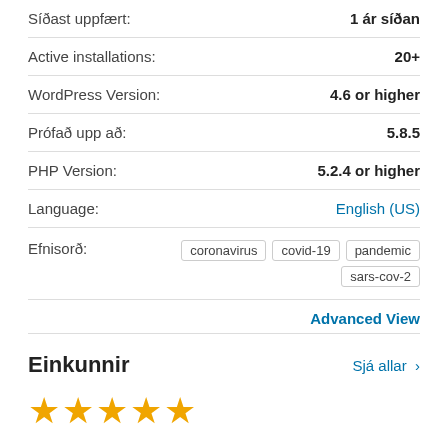| Síðast uppfært: | 1 ár síðan |
| Active installations: | 20+ |
| WordPress Version: | 4.6 or higher |
| Prófað upp að: | 5.8.5 |
| PHP Version: | 5.2.4 or higher |
| Language: | English (US) |
| Efnisorð: | coronavirus  covid-19  pandemic  sars-cov-2 |
Advanced View
Einkunnir
Sjá allar >
[Figure (other): Five gold stars rating]